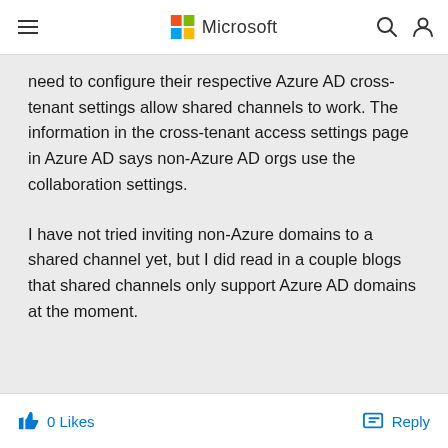Microsoft
need to configure their respective Azure AD cross-tenant settings allow shared channels to work. The information in the cross-tenant access settings page in Azure AD says non-Azure AD orgs use the collaboration settings.
I have not tried inviting non-Azure domains to a shared channel yet, but I did read in a couple blogs that shared channels only support Azure AD domains at the moment.
0 Likes   Reply